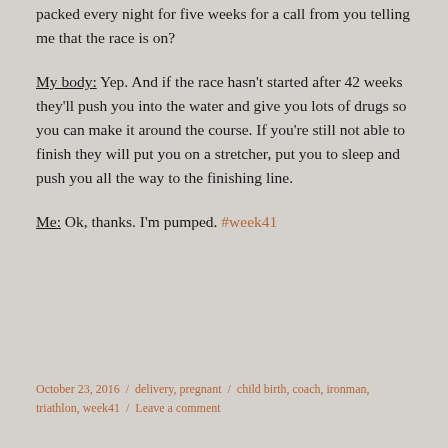packed every night for five weeks for a call from you telling me that the race is on?
My body: Yep. And if the race hasn't started after 42 weeks they'll push you into the water and give you lots of drugs so you can make it around the course. If you're still not able to finish they will put you on a stretcher, put you to sleep and push you all the way to the finishing line.
Me: Ok, thanks. I'm pumped. #week41
October 23, 2016 / delivery, pregnant / child birth, coach, ironman, triathlon, week41 / Leave a comment